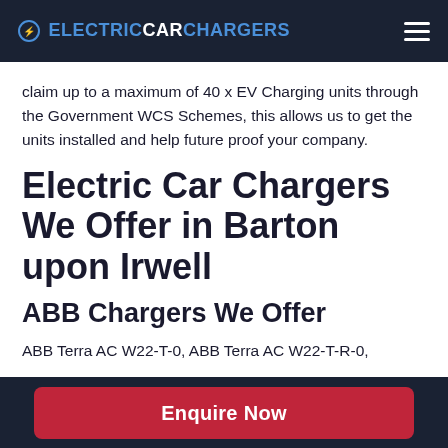ELECTRICCARCHARGERS
claim up to a maximum of 40 x EV Charging units through the Government WCS Schemes, this allows us to get the units installed and help future proof your company.
Electric Car Chargers We Offer in Barton upon Irwell
ABB Chargers We Offer
ABB Terra AC W22-T-0, ABB Terra AC W22-T-R-0,
Enquire Now